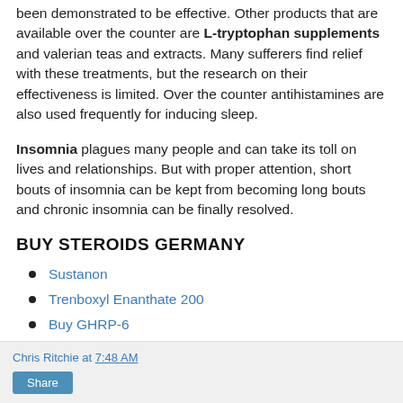been demonstrated to be effective. Other products that are available over the counter are L-tryptophan supplements and valerian teas and extracts. Many sufferers find relief with these treatments, but the research on their effectiveness is limited. Over the counter antihistamines are also used frequently for inducing sleep.
Insomnia plagues many people and can take its toll on lives and relationships. But with proper attention, short bouts of insomnia can be kept from becoming long bouts and chronic insomnia can be finally resolved.
BUY STEROIDS GERMANY
Sustanon
Trenboxyl Enanthate 200
Buy GHRP-6
Chris Ritchie at 7:48 AM  Share